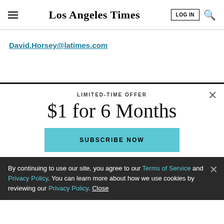Los Angeles Times
David.Horsey@latimes.com
LIMITED-TIME OFFER
$1 for 6 Months
SUBSCRIBE NOW
By continuing to use our site, you agree to our Terms of Service and Privacy Policy. You can learn more about how we use cookies by reviewing our Privacy Policy. Close